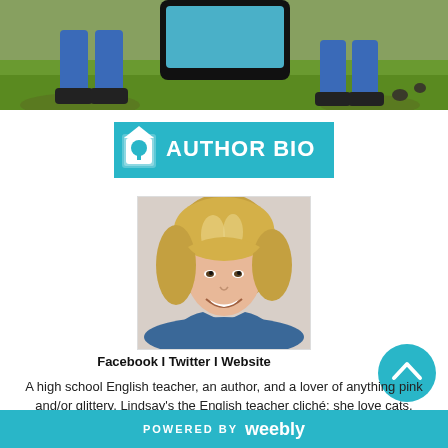[Figure (photo): Top banner photo showing outdoor scene with grass, person's legs, and what appears to be a tablet/screen]
[Figure (illustration): Author Bio banner with teal/turquoise background, torn paper edges, house-tree logo icon, and bold white text reading AUTHOR BIO]
[Figure (photo): Portrait photo of a smiling woman with blonde highlighted bob haircut wearing a blue top]
Facebook I Twitter I Website
A high school English teacher, an author, and a lover of anything pink and/or glittery, Lindsay's the English teacher cliché: she love cats, reading, Shakespeare, and
[Figure (illustration): Teal circular scroll-to-top button with upward chevron arrow]
POWERED BY weebly